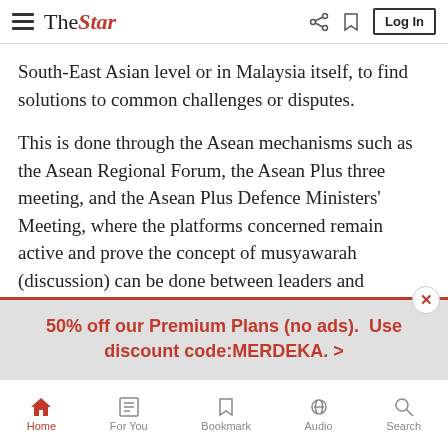The Star — navigation header with hamburger menu, logo, share, bookmark, and Log In button
South-East Asian level or in Malaysia itself, to find solutions to common challenges or disputes.
This is done through the Asean mechanisms such as the Asean Regional Forum, the Asean Plus three meeting, and the Asean Plus Defence Ministers' Meeting, where the platforms concerned remain active and prove the concept of musyawarah (discussion) can be done between leaders and stakeholders for regional security and peace, he said.
Through Asean, he said, member countries held constructive dialogue, promoting a peaceful way of finding solutions to
50% off our Premium Plans (no ads).  Use discount code:MERDEKA.  >
Home  For You  Bookmark  Audio  Search